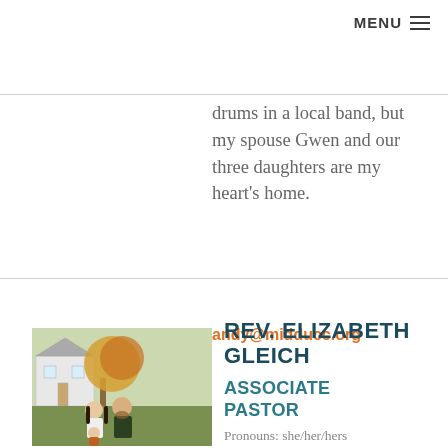MENU ≡
drums in a local band, but my spouse Gwen and our three daughters are my heart's home.
andy@midducc.org
REV. ELIZABETH GLEICH
ASSOCIATE PASTOR
[Figure (photo): Photo of Rev. Elizabeth Gleich and companion sitting outdoors in front of a house with trees in autumn foliage]
Pronouns: she/her/hers